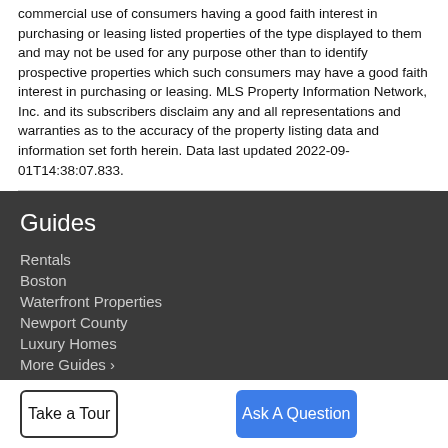commercial use of consumers having a good faith interest in purchasing or leasing listed properties of the type displayed to them and may not be used for any purpose other than to identify prospective properties which such consumers may have a good faith interest in purchasing or leasing. MLS Property Information Network, Inc. and its subscribers disclaim any and all representations and warranties as to the accuracy of the property listing data and information set forth herein. Data last updated 2022-09-01T14:38:07.833.
Guides
Rentals
Boston
Waterfront Properties
Newport County
Luxury Homes
More Guides >
Take a Tour
Ask A Question